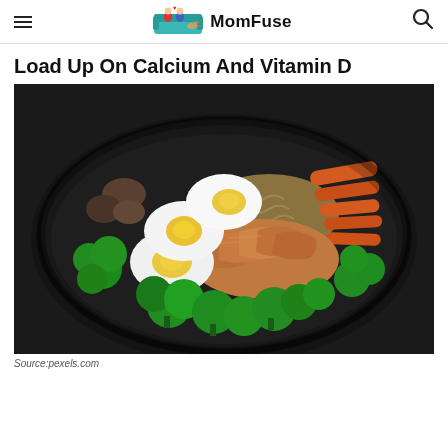MomFuse
Load Up On Calcium And Vitamin D
[Figure (photo): A dark plate with sliced grilled chicken breast, halved boiled eggs showing yellow yolks, steamed broccoli florets, and cooked carrot sticks, with noodles visible underneath, on a dark background.]
Source:pexels.com